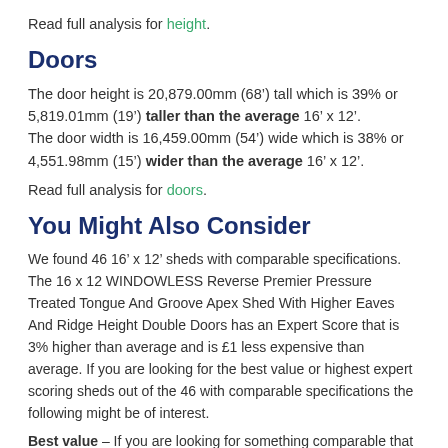Read full analysis for height.
Doors
The door height is 20,879.00mm (68’) tall which is 39% or 5,819.01mm (19’) taller than the average 16’ x 12’. The door width is 16,459.00mm (54’) wide which is 38% or 4,551.98mm (15’) wider than the average 16’ x 12’.
Read full analysis for doors.
You Might Also Consider
We found 46 16’ x 12’ sheds with comparable specifications. The 16 x 12 WINDOWLESS Reverse Premier Pressure Treated Tongue And Groove Apex Shed With Higher Eaves And Ridge Height Double Doors has an Expert Score that is 3% higher than average and is £1 less expensive than average. If you are looking for the best value or highest expert scoring sheds out of the 46 with comparable specifications the following might be of interest.
Best value – If you are looking for something comparable that